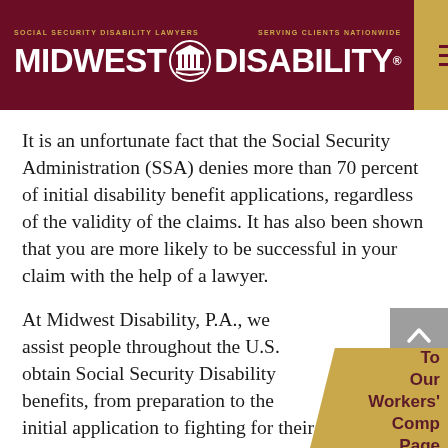SOCIAL SECURITY DISABILITY LAWYERS | MIDWEST DISABILITY® | SERVING CLIENTS NATIONWIDE
It is an unfortunate fact that the Social Security Administration (SSA) denies more than 70 percent of initial disability benefit applications, regardless of the validity of the claims. It has also been shown that you are more likely to be successful in your claim with the help of a lawyer.
At Midwest Disability, P.A., we assist people throughout the U.S. obtain Social Security Disability benefits, from preparation to the initial application to fighting for their rights in administrative hearings and on appeals of denied benefits. In some cases, we have t
[Figure (other): Page curl effect in bottom-right corner showing golden tab with text 'To Our Workers' Comp Page' and a grey scroll-to-top arrow button above it]